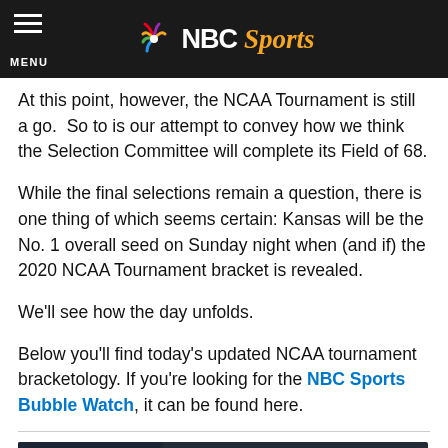NBC Sports - MENU
At this point, however, the NCAA Tournament is still a go. So to is our attempt to convey how we think the Selection Committee will complete its Field of 68.
While the final selections remain a question, there is one thing of which seems certain: Kansas will be the No. 1 overall seed on Sunday night when (and if) the 2020 NCAA Tournament bracket is revealed.
We'll see how the day unfolds.
Below you'll find today's updated NCAA tournament bracketology. If you're looking for the NBC Sports Bubble Watch, it can be found here.
[Figure (screenshot): Video thumbnail for 'College Basketball Talk on NBC - Monday's Overreactions']